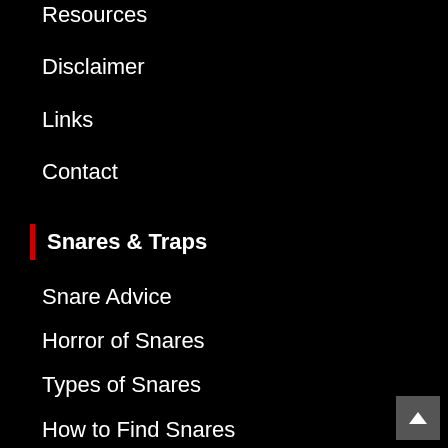Resources
Disclaimer
Links
Contact
Snares & Traps
Snare Advice
Horror of Snares
Types of Snares
How to Find Snares
Types of Animal Traps
Finding Traps